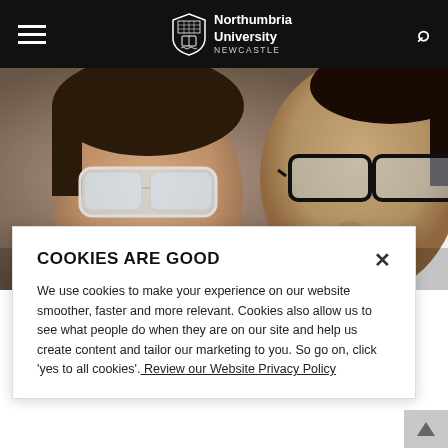Northumbria University NEWCASTLE
[Figure (photo): Two young women in a laboratory setting wearing safety glasses and spectacles, looking downward, close-up shot]
COOKIES ARE GOOD
We use cookies to make your experience on our website smoother, faster and more relevant. Cookies also allow us to see what people do when they are on our site and help us create content and tailor our marketing to you. So go on, click 'yes to all cookies'. Review our Website Privacy Policy